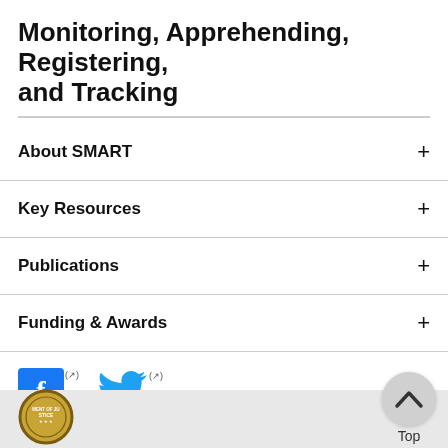Monitoring, Apprehending, Registering, and Tracking
About SMART
Key Resources
Publications
Funding & Awards
[Figure (logo): Facebook social media icon (blue square with white F) with external link indicator]
[Figure (logo): Twitter social media icon (blue bird) with external link indicator]
[Figure (logo): Department of Justice seal (partial, gold circular seal)]
[Figure (other): Back to top button - circular grey button with upward chevron arrow, labeled Top]